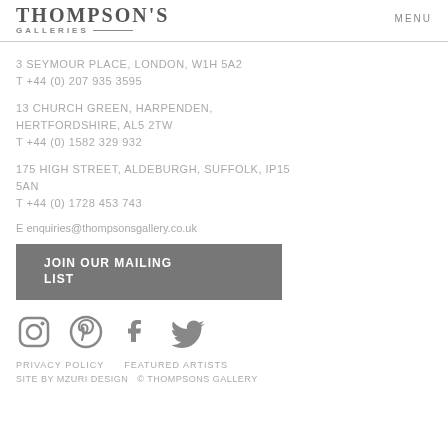THOMPSON'S GALLERIES  MENU
3 SEYMOUR PLACE, LONDON, W1H 5A2
T +44 (0) 207 935 3595
13 CHURCH GREEN, HARPENDEN, HERTFORDSHIRE, AL5 2TW
T +44 (0) 1582 329 932
175 HIGH STREET, ALDEBURGH, SUFFOLK, IP15 5AN
T +44 (0) 1728 453 743
E enquiries@thompsonsgallery.co.uk
JOIN OUR MAILING LIST
[Figure (illustration): Social media icons: Instagram, Pinterest, Facebook, Twitter]
PRIVACY POLICY   FEATURED ARTISTS
SITE BY MZURI DESIGN  © THOMPSONS GALLERY